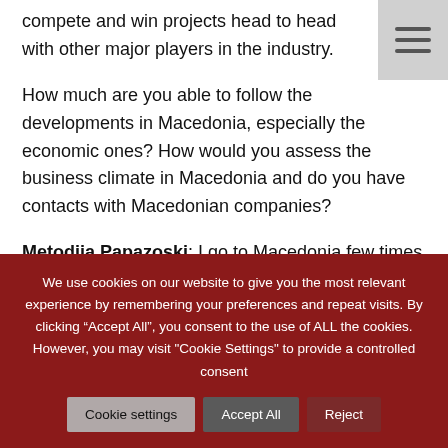compete and win projects head to head with other major players in the industry.
How much are you able to follow the developments in Macedonia, especially the economic ones? How would you assess the business climate in Macedonia and do you have contacts with Macedonian companies?
Metodija Papazoski: I go to Macedonia few times each year and I try to follow the situation on regular basis. There have been some encouraging signs coming from Macedonia, like
We use cookies on our website to give you the most relevant experience by remembering your preferences and repeat visits. By clicking “Accept All”, you consent to the use of ALL the cookies. However, you may visit "Cookie Settings" to provide a controlled consent